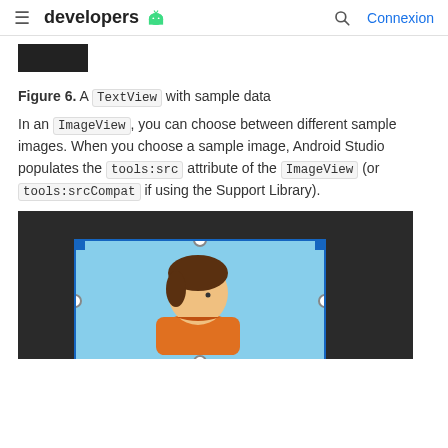developers [android logo]  [search]  Connexion
[Figure (screenshot): Partial screenshot showing a black image stub from previous figure]
Figure 6. A TextView with sample data
In an ImageView, you can choose between different sample images. When you choose a sample image, Android Studio populates the tools:src attribute of the ImageView (or tools:srcCompat if using the Support Library).
[Figure (screenshot): Android Studio layout editor showing an ImageView with a sample person avatar on a blue background, with selection handles visible, inside a dark-themed editor window.]